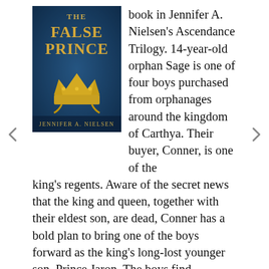[Figure (illustration): Book cover of 'The False Prince' by Jennifer A. Nielsen — blue background with a gold crown, title in gold serif text at top, author name at bottom.]
book in Jennifer A. Nielsen's Ascendance Trilogy. 14-year-old orphan Sage is one of four boys purchased from orphanages around the kingdom of Carthya. Their buyer, Conner, is one of the king's regents. Aware of the secret news that the king and queen, together with their eldest son, are dead, Conner has a bold plan to bring one of the boys forward as the king's long-lost younger son, Prince Jaron. The boys find themselves in a high-stakes competition. The winner will become King of Carthya. The losers will almost surely be killed. Conner's plan is treason, and the ruthless noble will do anything to protect his secret. The False